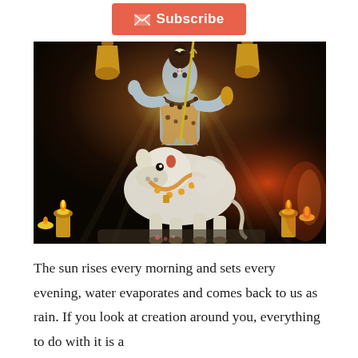[Figure (illustration): Subscribe button with envelope icon on a coral/orange-red background]
[Figure (illustration): Hindu religious illustration depicting Lord Shiva seated on Nandi (sacred white bull), with oil lamps, temple bells, and a dramatic dark atmospheric background with light rays]
The sun rises every morning and sets every evening, water evaporates and comes back to us as rain. If you look at creation around you, everything to do with it is a